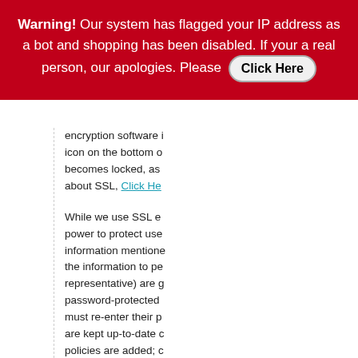Warning! Our system has flagged your IP address as a bot and shopping has been disabled. If your a real person, our apologies. Please Click Here
encryption software i icon on the bottom o becomes locked, as about SSL, Click He
While we use SSL e power to protect use information mentione the information to pe representative) are g password-protected must re-enter their p are kept up-to-date policies are added; c privacy, and what the store personally iden